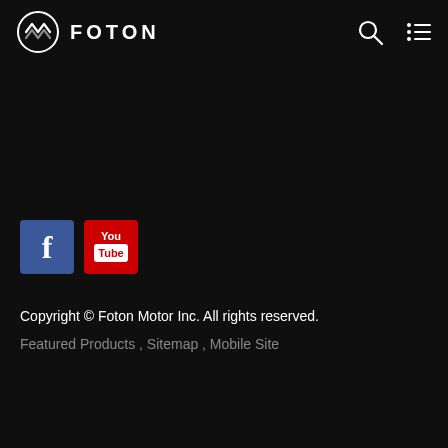FOTON
[Figure (logo): Foton logo with circular emblem and FOTON text, search icon and hamburger menu icon on dark background]
[Figure (logo): Social media icons: Facebook (blue square with f) and YouTube (red square with You/Tube text)]
Copyright © Foton Motor Inc. All rights reserved.
Featured Products , Sitemap , Mobile Site